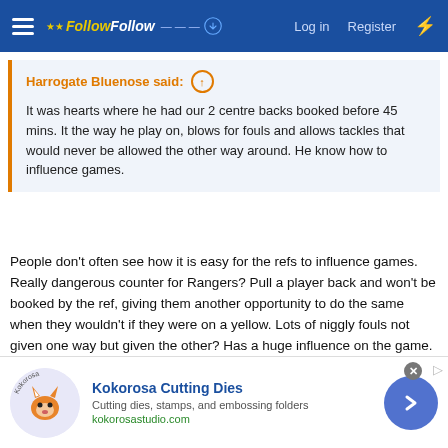FollowFollow — Log in  Register
Harrogate Bluenose said: ↑
It was hearts where he had our 2 centre backs booked before 45 mins. It the way he play on, blows for fouls and allows tackles that would never be allowed the other way around. He know how to influence games.
People don't often see how it is easy for the refs to influence games. Really dangerous counter for Rangers? Pull a player back and won't be booked by the ref, giving them another opportunity to do the same when they wouldn't if they were on a yellow. Lots of niggly fouls not given one way but given the other? Has a huge influence on the game. Now Rangers are far superior to these teams so most of the time we get over it, but it's fair to say that these teams are given an advantage via referees such as Don Robertson.
[Figure (screenshot): Advertisement banner for Kokorosa Cutting Dies — logo with fox, company name in blue bold text, tagline 'Cutting dies, stamps, and embossing folders', URL kokorosastudio.com, blue arrow button on right, close X button top right.]